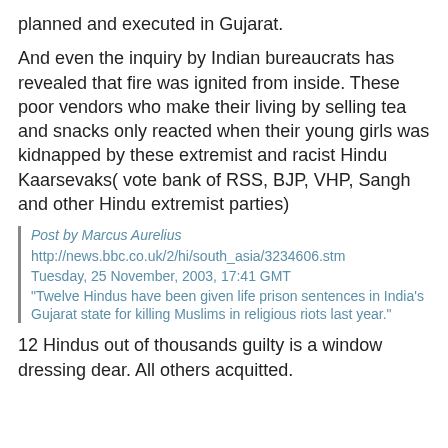planned and executed in Gujarat.
And even the inquiry by Indian bureaucrats has revealed that fire was ignited from inside. These poor vendors who make their living by selling tea and snacks only reacted when their young girls was kidnapped by these extremist and racist Hindu Kaarsevaks( vote bank of RSS, BJP, VHP, Sangh and other Hindu extremist parties)
Post by Marcus Aurelius
http://news.bbc.co.uk/2/hi/south_asia/3234606.stm
Tuesday, 25 November, 2003, 17:41 GMT
"Twelve Hindus have been given life prison sentences in India's Gujarat state for killing Muslims in religious riots last year."
12 Hindus out of thousands guilty is a window dressing dear. All others acquitted.